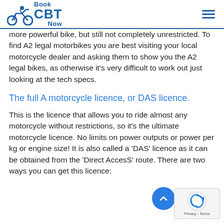Book CBT Now
more powerful bike, but still not completely unrestricted. To find A2 legal motorbikes you are best visiting your local motorcycle dealer and asking them to show you the A2 legal bikes, as otherwise it's very difficult to work out just looking at the tech specs.
The full A motorcycle licence, or DAS licence.
This is the licence that allows you to ride almost any motorcycle without restrictions, so it's the ultimate motorcycle licence. No limits on power outputs or power per kg or engine size! It is also called a 'DAS' licence as it can be obtained from the 'Direct AccesS' route. There are two ways you can get this licence: